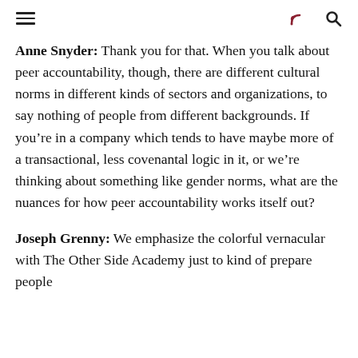[navigation icons: menu, RSS, search]
Anne Snyder: Thank you for that. When you talk about peer accountability, though, there are different cultural norms in different kinds of sectors and organizations, to say nothing of people from different backgrounds. If you're in a company which tends to have maybe more of a transactional, less covenantal logic in it, or we're thinking about something like gender norms, what are the nuances for how peer accountability works itself out?
Joseph Grenny: We emphasize the colorful vernacular with The Other Side Academy just to kind of prepare people